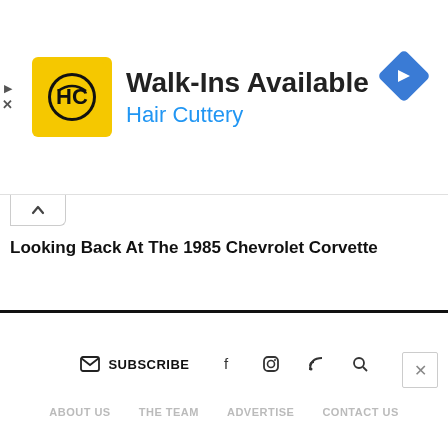[Figure (infographic): Hair Cuttery advertisement banner with yellow HC logo, text 'Walk-Ins Available' and 'Hair Cuttery' in blue, with a navigation arrow diamond icon on the right]
Looking Back At The 1985 Chevrolet Corvette
SUBSCRIBE | social icons: Facebook, Instagram, RSS, Search
ABOUT US | THE TEAM | ADVERTISE | CONTACT US